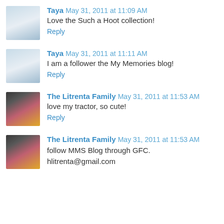Taya May 31, 2011 at 11:09 AM
Love the Such a Hoot collection!
Reply
Taya May 31, 2011 at 11:11 AM
I am a follower the My Memories blog!
Reply
The Litrenta Family May 31, 2011 at 11:53 AM
love my tractor, so cute!
Reply
The Litrenta Family May 31, 2011 at 11:53 AM
follow MMS Blog through GFC.
hlitrenta@gmail.com